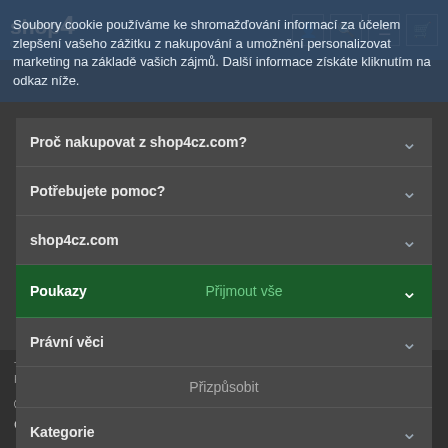shop4cz.com
Soubory cookie používáme ke shromažďování informací za účelem zlepšení vašeho zážitku z nakupování a umožnění personalizovat marketing na základě vašich zájmů. Další informace získáte kliknutím na odkaz níže.
Proč nakupovat z shop4cz.com?
Potřebujete pomoc?
shop4cz.com
Poukazy — Přijmout vše
Právní věci
Přizpůsobit
Kategorie
Současné trendy — Více informací
Tento web je chráněn reCAPTCHA
Platí Google Zásady ochrany osobních údajů a Podmínky služby.
© shop4cz.com 2022 • Unit 1, Maison Court, Barlborough, Chesterfield, S43 4GD, United Kingdom